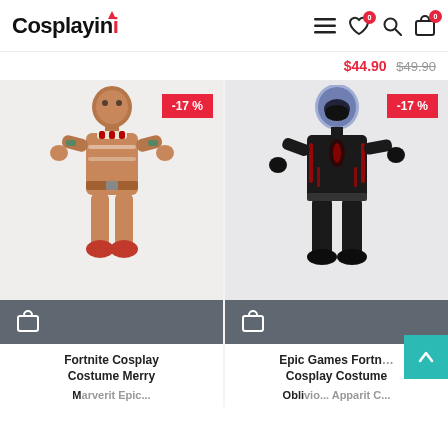Cosplayini
$44.90  $49.90
[Figure (photo): Fortnite Gingerbread Man cosplay costume full-body suit with -17% discount badge]
[Figure (photo): Epic Games Fortnite dark full-body cosplay costume with helmet/mask and -17% discount badge]
Fortnite Cosplay Costume Merry
Epic Games Fortnite Cosplay Costume